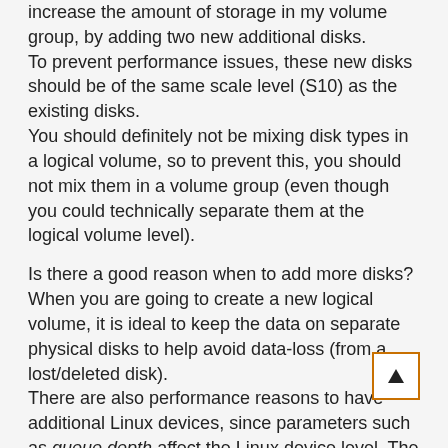increase the amount of storage in my volume group, by adding two new additional disks.
To prevent performance issues, these new disks should be of the same scale level (S10) as the existing disks.
You should definitely not be mixing disk types in a logical volume, so to prevent this, you should not mix them in a volume group (even though you could technically separate them at the logical volume level).
Is there a good reason when to add more disks? When you are going to create a new logical volume, it is ideal to keep the data on separate physical disks to help avoid data-loss (from a lost/deleted disk).
There are also performance reasons to have additional Linux devices, since parameters such as queue depth affect the Linux device level. The Linux O/S can effectively issue more simultaneous read requests since additional data disks are additional devices.
As we have seen, uplifting a disk tier, you will need to take